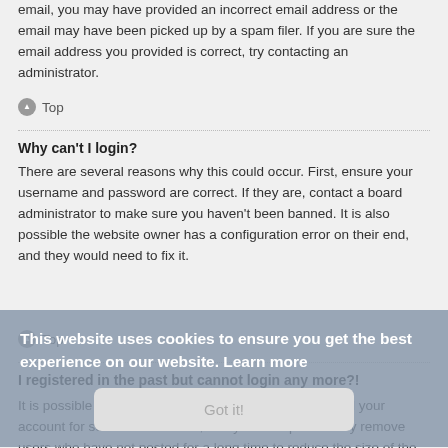email, you may have provided an incorrect email address or the email may have been picked up by a spam filer. If you are sure the email address you provided is correct, try contacting an administrator.
Top
Why can't I login?
There are several reasons why this could occur. First, ensure your username and password are correct. If they are, contact a board administrator to make sure you haven't been banned. It is also possible the website owner has a configuration error on their end, and they would need to fix it.
Top
I registered in the past but cannot login any more?!
It is possible an administrator has deactivated or deleted your account for some reason. Also, many boards periodically remove users who have not posted for a long time to reduce the size of the database. If this has happened, try registering again and being more involved in discussions.
Top
I've lost my password!
Don't panic! While your password cannot be retrieved, it can easily be
This website uses cookies to ensure you get the best experience on our website. Learn more
Got it!